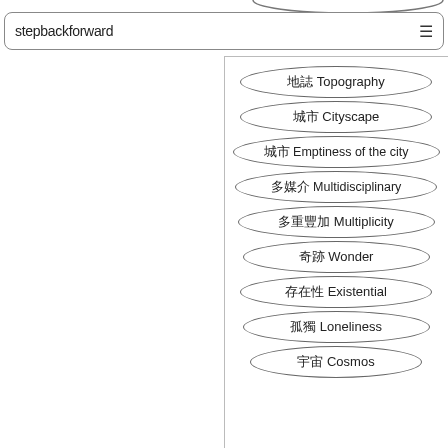stepbackforward ≡
地誌 Topography
城市 Cityscape
城市 Emptiness of the city
多媒介 Multidisciplinary
多重豐加 Multiplicity
奇跡 Wonder
存在性 Existential
孤獨 Loneliness
宇宙 Cosmos